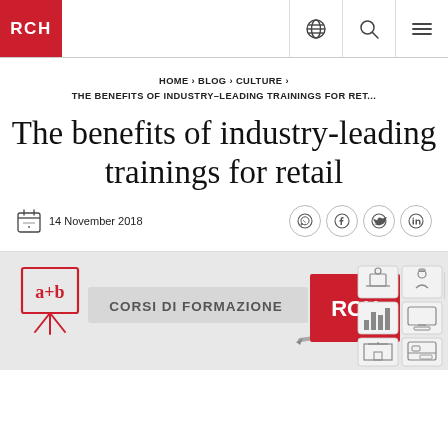RCH
HOME > BLOG > CULTURE > THE BENEFITS OF INDUSTRY-LEADING TRAININGS FOR RET...
The benefits of industry-leading trainings for retail
14 November 2018
[Figure (illustration): RCH Corsi di Formazione banner showing a+b chalkboard icon, pen, RCH logo in red, and training category icons (e-learning, classroom, statistics, monitor, bank, cash register)]